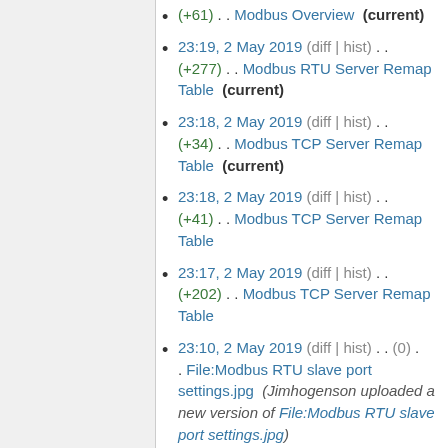(+61) . . Modbus Overview (current)
23:19, 2 May 2019 (diff | hist) . . (+277) . . Modbus RTU Server Remap Table (current)
23:18, 2 May 2019 (diff | hist) . . (+34) . . Modbus TCP Server Remap Table (current)
23:18, 2 May 2019 (diff | hist) . . (+41) . . Modbus TCP Server Remap Table
23:17, 2 May 2019 (diff | hist) . . (+202) . . Modbus TCP Server Remap Table
23:10, 2 May 2019 (diff | hist) . . (0) . . File:Modbus RTU slave port settings.jpg (Jimhogenson uploaded a new version of File:Modbus RTU slave port settings.jpg)
23:07, 2 May 2019 (diff | hist) . . (0) . . File:Modbus TCP server status